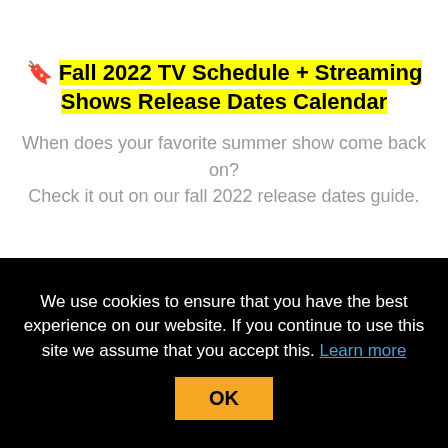🔖 Fall 2022 TV Schedule + Streaming Shows Release Dates Calendar
When does your favorite summer show come back on? Check it out on our fall 2022 release dates guide.
We use cookies to ensure that you have the best experience on our website. If you continue to use this site we assume that you accept this. Learn more OK